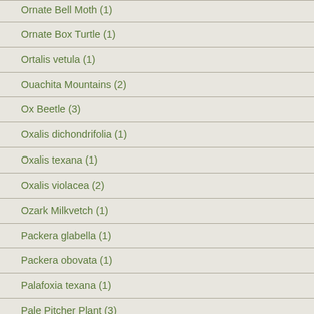Ornate Bell Moth (1)
Ornate Box Turtle (1)
Ortalis vetula (1)
Ouachita Mountains (2)
Ox Beetle (3)
Oxalis dichondrifolia (1)
Oxalis texana (1)
Oxalis violacea (2)
Ozark Milkvetch (1)
Packera glabella (1)
Packera obovata (1)
Palafoxia texana (1)
Pale Pitcher Plant (3)
Pale Purple Coneflower (1)
Pantherophis bairdi (1)